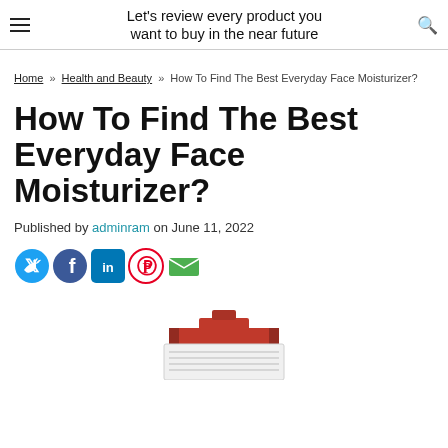Let's review every product you want to buy in the near future
Home » Health and Beauty » How To Find The Best Everyday Face Moisturizer?
How To Find The Best Everyday Face Moisturizer?
Published by adminram on June 11, 2022
[Figure (infographic): Social share icons: Twitter (blue bird), Facebook (blue f), LinkedIn (blue in), Pinterest (red P), Email (green envelope)]
[Figure (photo): Partial view of a face moisturizer product tube/container at the bottom of the page]